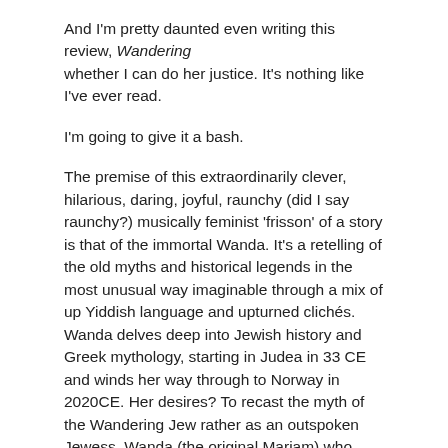And I'm pretty daunted even writing this review, Wandering whether I can do her justice. It's nothing like I've ever read.
I'm going to give it a bash.
The premise of this extraordinarily clever, hilarious, daring, joyful, raunchy (did I say raunchy?) musically feminist 'frisson' of a story is that of the immortal Wanda. It's a retelling of the old myths and historical legends in the most unusual way imaginable through a mix of up Yiddish language and upturned clichés. Wanda delves deep into Jewish history and Greek mythology, starting in Judea in 33 CE and winds her way through to Norway in 2020CE. Her desires? To recast the myth of the Wandering Jew rather as an outspoken Jewess, Wanda (the original Mariam) who through her love of music and determination to have women's voices heard, tells her own tale in a language that is entirely and uniquely her own. Her quest? To become the Tenth Muse. And in between it all, engage in much pleasuring of her 'pomegranate pip' otherwise identified as a 'bliss button, quimberry, or man in